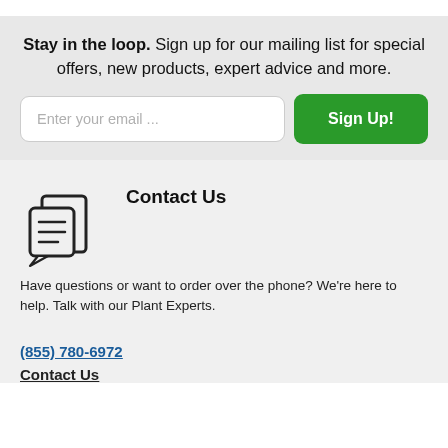Stay in the loop. Sign up for our mailing list for special offers, new products, expert advice and more.
[Figure (other): Email input field with placeholder text 'Enter your email ...' and a green Sign Up! button]
[Figure (other): Contact Us icon showing two overlapping speech/document bubbles with lines]
Contact Us
Have questions or want to order over the phone? We're here to help. Talk with our Plant Experts.
(855) 780-6972
Contact Us